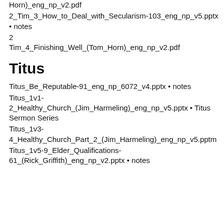Horn)_eng_np_v2.pdf
2_Tim_3_How_to_Deal_with_Secularism-103_eng_np_v5.pptx • notes
2 Tim_4_Finishing_Well_(Tom_Horn)_eng_np_v2.pdf
Titus
Titus_Be_Reputable-91_eng_np_6072_v4.pptx • notes
Titus_1v1-2_Healthy_Church_(Jim_Harmeling)_eng_np_v5.pptx • Titus Sermon Series
Titus_1v3-4_Healthy_Church_Part_2_(Jim_Harmeling)_eng_np_v5.pptm
Titus_1v5-9_Elder_Qualifications-61_(Rick_Griffith)_eng_np_v2.pptx • notes